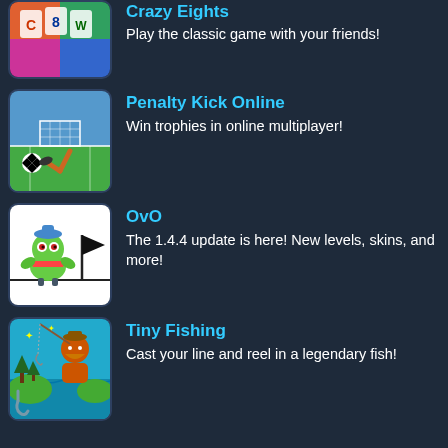[Figure (screenshot): Crazy Eights game thumbnail - colorful card game icon]
Crazy Eights
Play the classic game with your friends!
[Figure (screenshot): Penalty Kick Online game thumbnail - soccer/football game]
Penalty Kick Online
Win trophies in online multiplayer!
[Figure (screenshot): OvO game thumbnail - alien character with flag]
OvO
The 1.4.4 update is here! New levels, skins, and more!
[Figure (screenshot): Tiny Fishing game thumbnail - fisherman on teal background]
Tiny Fishing
Cast your line and reel in a legendary fish!